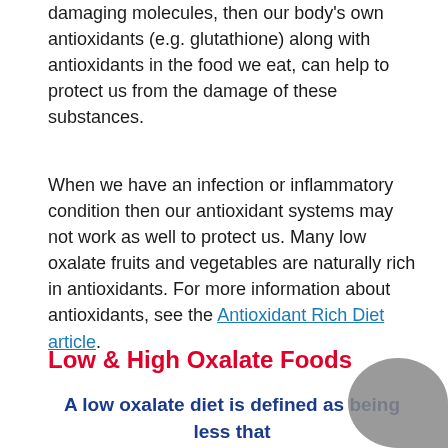damaging molecules, then our body's own antioxidants (e.g. glutathione) along with antioxidants in the food we eat, can help to protect us from the damage of these substances.
When we have an infection or inflammatory condition then our antioxidant systems may not work as well to protect us. Many low oxalate fruits and vegetables are naturally rich in antioxidants. For more information about antioxidants, see the Antioxidant Rich Diet article.
Low & High Oxalate Foods
A low oxalate diet is defined as being less that 50mg of oxalates per day.
Low oxalate foods
The following foods have less than 50mg (0.00176oz) per 100g (3.5oz) of oxalates per serve (unless marked